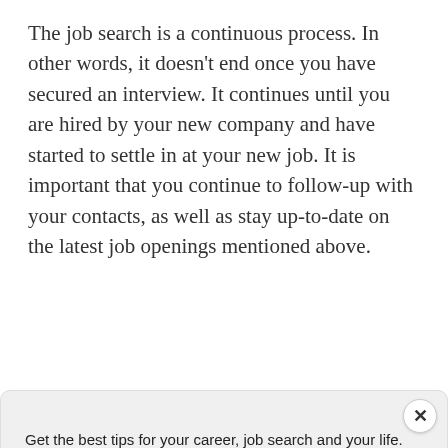The job search is a continuous process. In other words, it doesn't end once you have secured an interview. It continues until you are hired by your new company and have started to settle in at your new job. It is important that you continue to follow-up with your contacts, as well as stay up-to-date on the latest job openings mentioned above.
Provided by SendPulse
Get the best tips for your career, job search and your life. Subscribe today (we send one email every 2 weeks)
Email* [username@gmail.com] [Subscribe]